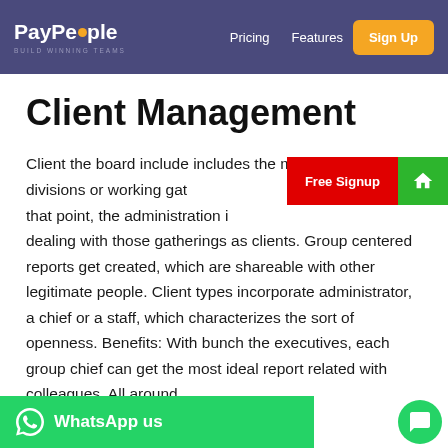PayPeople | Pricing | Features | Sign Up
Client Management
Client the board include includes the making of groups, divisions or working gatherings and that point, the administration includes dealing with those gatherings as clients. Group centered reports get created, which are shareable with other legitimate people. Client types incorporate administrator, a chief or a staff, which characterizes the sort of openness. Benefits: With bunch the executives, each group chief can get the most ideal report related with colleagues. All around